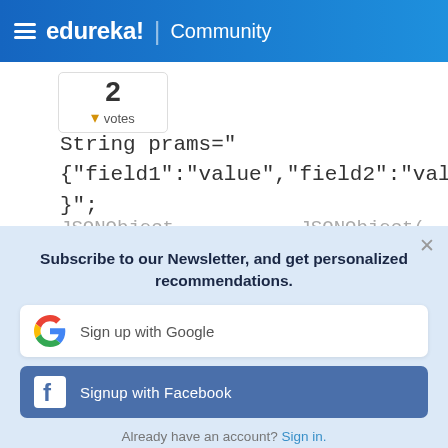edureka! | Community
String prams="
{"field1":"value","field2":"value2" }";
jSONObject... jSONObject(...)
Subscribe to our Newsletter, and get personalized recommendations.
Sign up with Google
Signup with Facebook
Already have an account? Sign in.